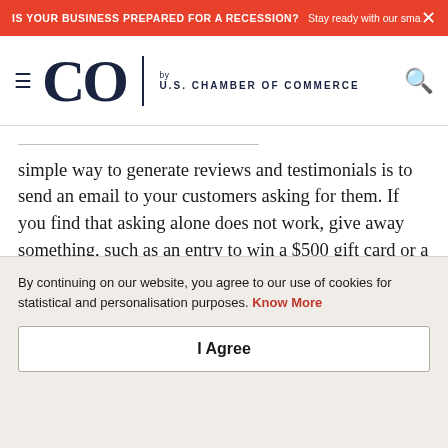IS YOUR BUSINESS PREPARED FOR A RECESSION? Stay ready with our small busin...
[Figure (logo): CO by U.S. Chamber of Commerce logo with hamburger menu and search icon]
...happy customers make the best brand promoters. A simple way to generate reviews and testimonials is to send an email to your customers asking for them. If you find that asking alone does not work, give away something, such as an entry to win a $500 gift card or a coupon code for 50% off one product, in exchange for a
By continuing on our website, you agree to our use of cookies for statistical and personalisation purposes. Know More
I Agree